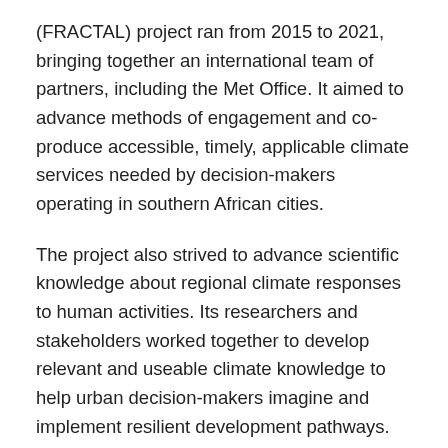(FRACTAL) project ran from 2015 to 2021, bringing together an international team of partners, including the Met Office. It aimed to advance methods of engagement and co-produce accessible, timely, applicable climate services needed by decision-makers operating in southern African cities.
The project also strived to advance scientific knowledge about regional climate responses to human activities. Its researchers and stakeholders worked together to develop relevant and useable climate knowledge to help urban decision-makers imagine and implement resilient development pathways.
FRACTAL was coordinated by the Climate System Analysis Group at the University of Cape Town. It was part of the Future Climate for Africa (FCFA) programme –